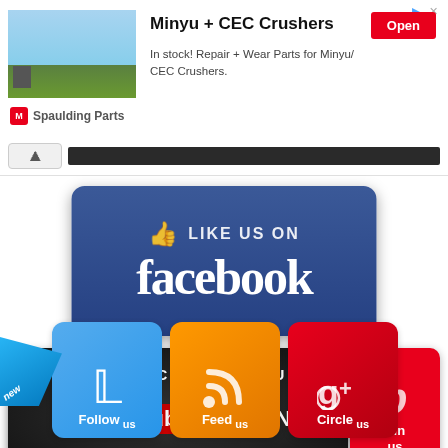[Figure (screenshot): Advertisement banner for Minyu + CEC Crushers by Spaulding Parts with an Open button]
[Figure (infographic): Like Us On Facebook social media button with Facebook branding and thumbs up icon]
[Figure (infographic): Subscribe To Our YouTube Channel button with new badge and Pinterest Pin Us button]
[Figure (infographic): Twitter Follow us, RSS Feed us, and Google+ Circle us social media buttons]